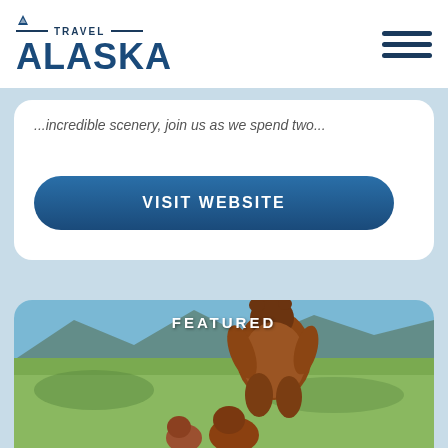[Figure (logo): Travel Alaska logo with mountain icon and dark blue text]
[Figure (infographic): Hamburger menu icon with three dark blue horizontal lines]
...incredible scenery, join us as we spend two...
VISIT WEBSITE
FEATURED
[Figure (photo): Brown bears (grizzly bears) standing upright in a green meadow field with mountains and water in the background. Text 'FEATURED' overlaid at top center.]